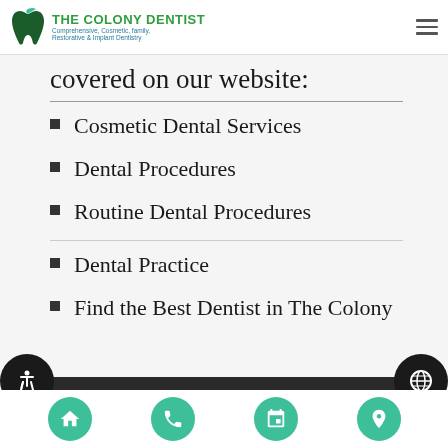THE COLONY DENTIST - Comprehensive, Cosmetic, family, Restorative & Implant Dentistry
covered on our website:
Cosmetic Dental Services
Dental Procedures
Routine Dental Procedures
Dental Practice
Find the Best Dentist in The Colony